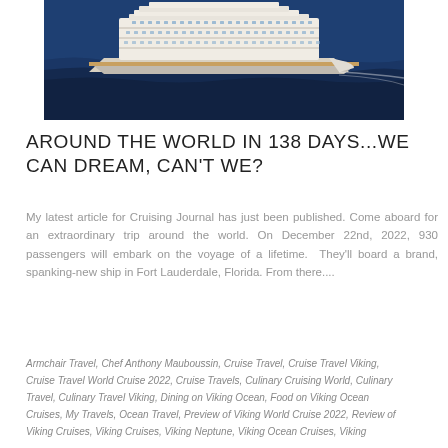[Figure (photo): Aerial view of a large white cruise ship sailing on deep blue ocean water]
AROUND THE WORLD IN 138 DAYS...WE CAN DREAM, CAN'T WE?
My latest article for Cruising Journal has just been published. Come aboard for an extraordinary trip around the world. On December 22nd, 2022, 930 passengers will embark on the voyage of a lifetime.  They'll board a brand, spanking-new ship in Fort Lauderdale, Florida. From there....
Armchair Travel, Chef Anthony Mauboussin, Cruise Travel, Cruise Travel Viking, Cruise Travel World Cruise 2022, Cruise Travels, Culinary Cruising World, Culinary Travel, Culinary Travel Viking, Dining on Viking Ocean, Food on Viking Ocean Cruises, My Travels, Ocean Travel, Preview of Viking World Cruise 2022, Review of Viking Cruises, Viking Cruises, Viking Neptune, Viking Ocean Cruises, Viking